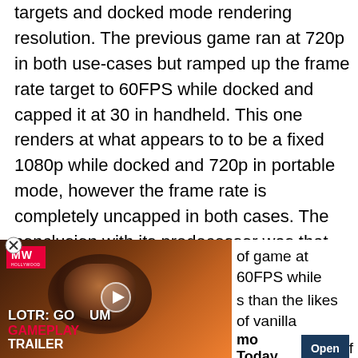targets and docked mode rendering resolution. The previous game ran at 720p in both use-cases but ramped up the frame rate target to 60FPS while docked and capped it at 30 in handheld. This one renders at what appears to to be a fixed 1080p while docked and 720p in portable mode, however the frame rate is completely uncapped in both cases. The conclusion with its predecessor was that this type of game didn't necessarily need the higher resolution in docked mode since this type of experience, with its blocky environments, does not aim for photorealism.
[Figure (other): Video ad overlay for 'LOTR: Gollum Gameplay Trailer' from Hollywood Weekly (MW logo). Shows a dark fantasy character with fiery background. Contains a play button, close (X) button, and an 'Open' button with partial text 'of game at 60FPS while', 's than the likes of vanilla', 'mo Today', and partial 'f'.]